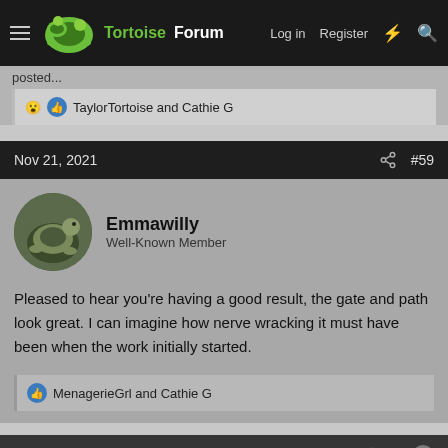TortoiseForum — Log in | Register
posted...
😮 👍 TaylorTortoise and Cathie G
Nov 21, 2021  #59
Emmawilly
Well-Known Member
Pleased to hear you're having a good result, the gate and path look great. I can imagine how nerve wracking it must have been when the work initially started.
👍 MenagerieGrl and Cathie G
Nov 25, 2021